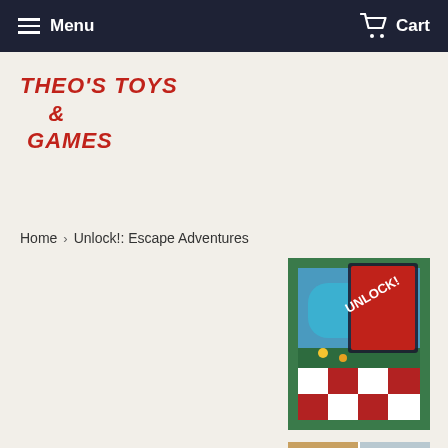Menu  Cart
THEO'S TOYS & GAMES
Home › Unlock!: Escape Adventures
[Figure (photo): Product image of Unlock!: Escape Adventures board game box, aerial/top-down view with colorful game components]
[Figure (photo): Product image showing game cards and smartphone app for Unlock!: Escape Adventures, 2x2 grid of photos]